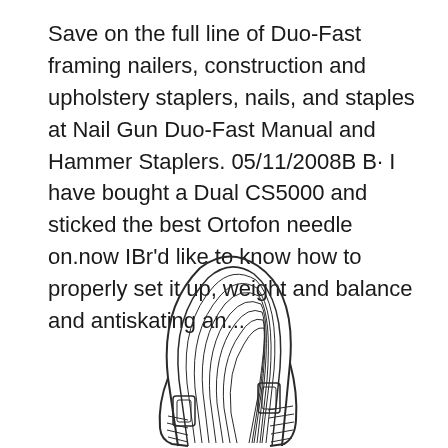Save on the full line of Duo-Fast framing nailers, construction and upholstery staplers, nails, and staples at Nail Gun Duo-Fast Manual and Hammer Staplers. 05/11/2008B B· I have bought a Dual CS5000 and sticked the best Ortofon needle on.now IBr'd like to know how to properly set it up, weight and balance and antiskating an...
[Figure (illustration): Line drawing illustration of a stapler or nail gun component, showing a curved arch-shaped piece with hatching/shading lines on the top curved portion, a rectangular body with a recessed window, and hatched lines at the bottom. The drawing is in a minimalist outline style.]